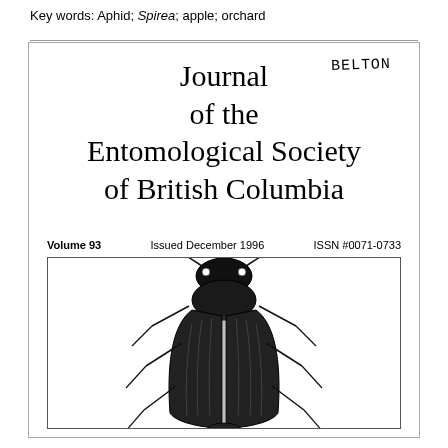Key words: Aphid; Spirea; apple; orchard
Journal of the Entomological Society of British Columbia
BELTON
Volume 93    Issued December 1996    ISSN #0071-0733
[Figure (illustration): Black and white scientific illustration of a beetle (longhorn or similar beetle) shown from dorsal view, with antennae extending upward and legs visible on both sides. Detailed stippled/engraved style artwork inside a rectangular border.]